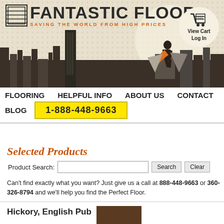[Figure (illustration): Fantastic Floor website header banner with superhero silhouette over city skyline, logo, tagline, and shopping cart icon]
FANTASTIC FLOOR - SAVING THE WORLD FROM HIGH PRICES
FLOORING
HELPFUL INFO
ABOUT US
CONTACT
BLOG
1-888-448-9663
Selected Products
Product Search:
Can't find exactly what you want? Just give us a call at 888-448-9663 or 360-326-8794 and we'll help you find the Perfect Floor.
Hickory English Pub